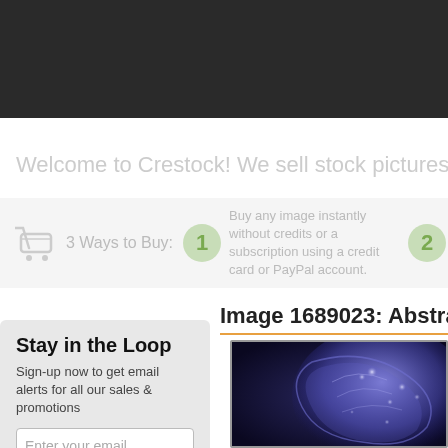[Figure (screenshot): Crestock stock photo website screenshot showing logo, navigation tabs (Search, How to Buy), search bar with cart icon and Buy Credits or Subscription text, welcome banner, 3 Ways to Buy section, image title for Image 1689023: Abstract, Stay in the Loop signup sidebar, and abstract glowing brain image preview.]